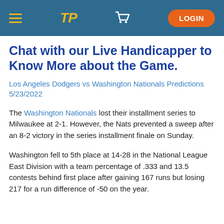TP | LOGIN
Chat with our Live Handicapper to Know More about the Game.
Los Angeles Dodgers vs Washington Nationals Predictions 5/23/2022
The Washington Nationals lost their installment series to Milwaukee at 2-1. However, the Nats prevented a sweep after an 8-2 victory in the series installment finale on Sunday.
Washington fell to 5th place at 14-28 in the National League East Division with a team percentage of .333 and 13.5 contests behind first place after gaining 167 runs but losing 217 for a run difference of -50 on the year.